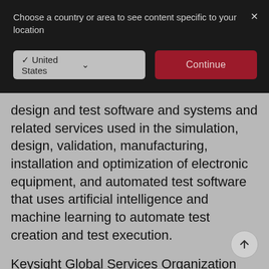Choose a country or area to see content specific to your location
✓ United States
Continue
design and test software and systems and related services used in the simulation, design, validation, manufacturing, installation and optimization of electronic equipment, and automated test software that uses artificial intelligence and machine learning to automate test creation and test execution.
Keysight Global Services Organization
provides services solutions including